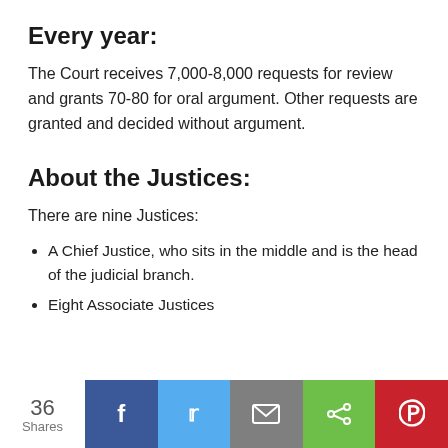Every year:
The Court receives 7,000-8,000 requests for review and grants 70-80 for oral argument. Other requests are granted and decided without argument.
About the Justices:
There are nine Justices:
A Chief Justice, who sits in the middle and is the head of the judicial branch.
Eight Associate Justices
36 Shares | Facebook | Twitter | Email | Share | Pinterest